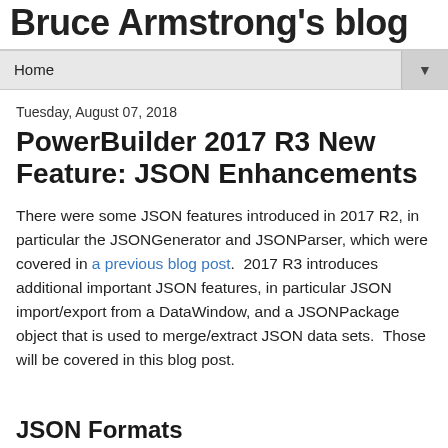Bruce Armstrong's blog
Home
Tuesday, August 07, 2018
PowerBuilder 2017 R3 New Feature: JSON Enhancements
There were some JSON features introduced in 2017 R2, in particular the JSONGenerator and JSONParser, which were covered in a previous blog post.  2017 R3 introduces additional important JSON features, in particular JSON import/export from a DataWindow, and a JSONPackage object that is used to merge/extract JSON data sets.  Those will be covered in this blog post.
JSON Formats
Before we cover the specific new features we need to first